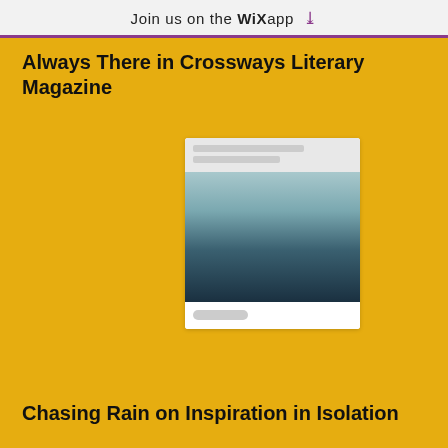Join us on the WiX app ↓
Always There in Crossways Literary Magazine
[Figure (screenshot): A small card thumbnail showing a landscape/seascape image with blurred text lines above and a pill-shaped label below, on a white background card.]
Chasing Rain on Inspiration in Isolation
[Figure (screenshot): A second small card thumbnail showing a dark indoor scene image with blurred text lines above, on a white background card.]